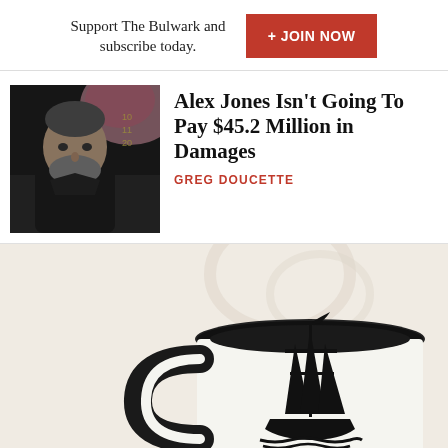Support The Bulwark and subscribe today.
+ JOIN NOW
[Figure (photo): Black and white photo of Alex Jones with colorful artistic background]
Alex Jones Isn't Going To Pay $45.2 Million in Damages
GREG DOUCETTE
[Figure (photo): A white coffee mug with black interior and a sailing ship logo, on a warm beige background]